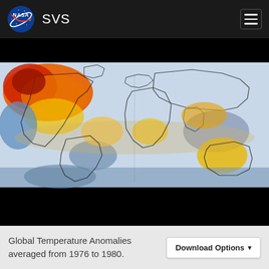NASA SVS
[Figure (map): Global Temperature Anomalies world map averaged from 1976 to 1980. A color-coded map of the Earth showing temperature anomalies: warm anomalies (orange/red) prominent over North America and parts of Asia, cool anomalies (blue) over oceans and southern regions, yellowish areas over Australia and tropics.]
Global Temperature Anomalies averaged from 1976 to 1980.